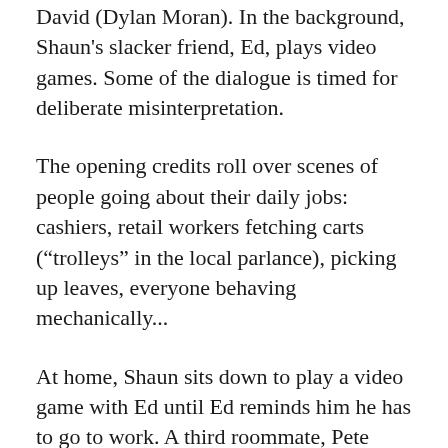David (Dylan Moran). In the background, Shaun's slacker friend, Ed, plays video games. Some of the dialogue is timed for deliberate misinterpretation.
The opening credits roll over scenes of people going about their daily jobs: cashiers, retail workers fetching carts (“trolleys” in the local parlance), picking up leaves, everyone behaving mechanically...
At home, Shaun sits down to play a video game with Ed until Ed reminds him he has to go to work. A third roommate, Pete (Peter Serafinowicz), lectures Shaun about letting Ed continue to freeload.
On his way to work, Shaun ignores headlines and weird occurrences—the homeless man trying to eat pigeons, the odd, shambling walk so many people in the street seem to have adopted...